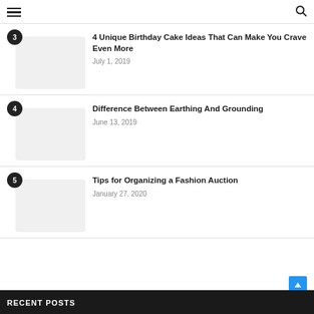≡  🔍
3 | 4 Unique Birthday Cake Ideas That Can Make You Crave Even More | July 1, 2019
4 | Difference Between Earthing And Grounding | June 13, 2019
5 | Tips for Organizing a Fashion Auction | January 27, 2020
RECENT POSTS